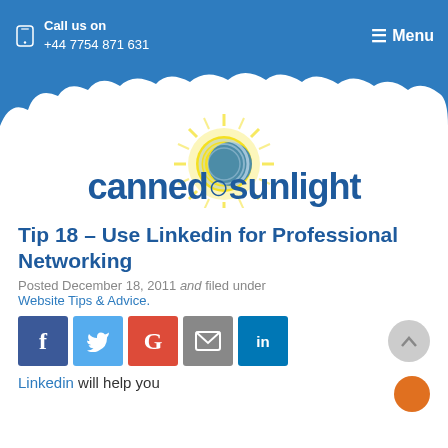Call us on +44 7754 871 631 | Menu
[Figure (logo): Canned Sunlight logo with sun graphic and cloud border]
Tip 18 – Use Linkedin for Professional Networking
Posted December 18, 2011 and filed under Website Tips & Advice.
[Figure (infographic): Social share buttons: Facebook, Twitter, Google+, Email, LinkedIn]
Linkedin will help you